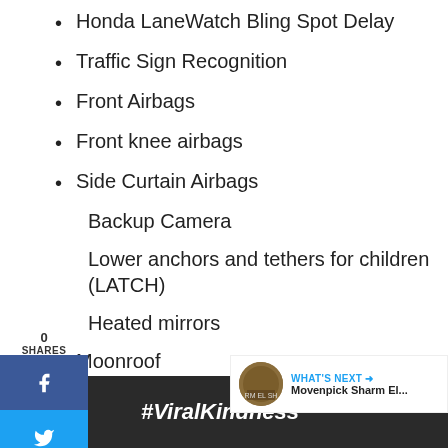Honda LaneWatch Bling Spot Delay
Traffic Sign Recognition
Front Airbags
Front knee airbags
Side Curtain Airbags
Backup Camera
Lower anchors and tethers for children (LATCH)
Heated mirrors
Moonroof
Rain sensing windshield wipers
[Figure (screenshot): Social sharing widget showing 0 shares with Facebook, Twitter, Pinterest buttons on the left side]
[Figure (screenshot): What's Next widget showing Movenpick Sharm El... with thumbnail]
[Figure (screenshot): Advertisement banner with #ViralKindness text and rainbow graphic]